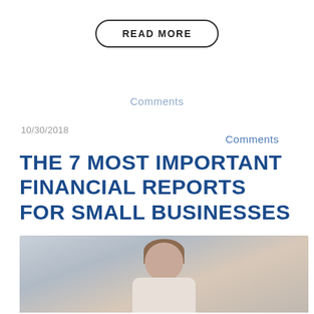READ MORE
Comments
10/30/2018
Comments
THE 7 MOST IMPORTANT FINANCIAL REPORTS FOR SMALL BUSINESSES
[Figure (photo): Photo of a woman in an office setting, partial view showing head and shoulders]